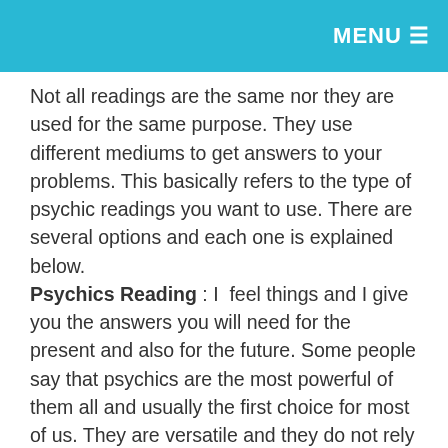MENU ☰
Not all readings are the same nor they are used for the same purpose. They use different mediums to get answers to your problems. This basically refers to the type of psychic readings you want to use. There are several options and each one is explained below. Psychics Reading : I feel things and I give you the answers you will need for the present and also for the future. Some people say that psychics are the most powerful of them all and usually the first choice for most of us. They are versatile and they do not rely on one thing to complete the process, they rely on multiple types such as feelings, intuition, skills, experience and so much more. Thats why it is very important to choose an